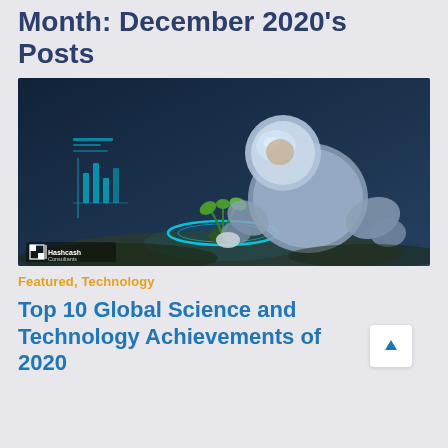Month: December 2020's Posts
[Figure (photo): Astronaut in spacesuit crouching over a small green plant with glowing holographic HUD elements, on a lunar/planetary surface. Hashcash Consultants logo in lower left corner.]
Featured, Technology
Top 10 Global Science and Technology Achievements of 2020